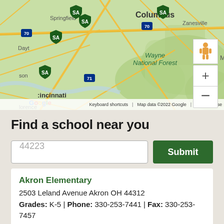[Figure (map): Google Maps screenshot showing Ohio region with SA school markers near Cincinnati, Columbus area, Springfield. Wayne National Forest visible. Map shows roads, cities including Zanesville, Florence. Zoom controls and pegman visible on right side.]
Find a school near you
44223 [search input placeholder]
Submit
Akron Elementary
2503 Leland Avenue Akron OH 44312
Grades: K-5 | Phone: 330-253-7441 | Fax: 330-253-7457